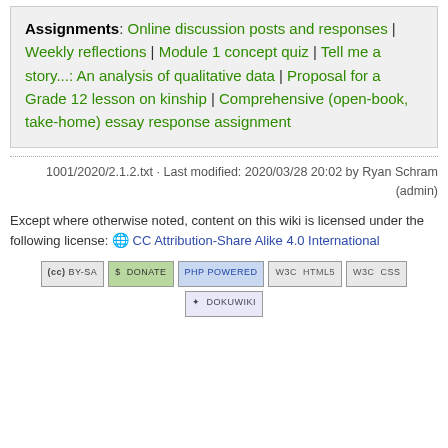Assignments: Online discussion posts and responses | Weekly reflections | Module 1 concept quiz | Tell me a story...: An analysis of qualitative data | Proposal for a Grade 12 lesson on kinship | Comprehensive (open-book, take-home) essay response assignment
1001/2020/2.1.2.txt · Last modified: 2020/03/28 20:02 by Ryan Schram (admin)
Except where otherwise noted, content on this wiki is licensed under the following license: CC Attribution-Share Alike 4.0 International